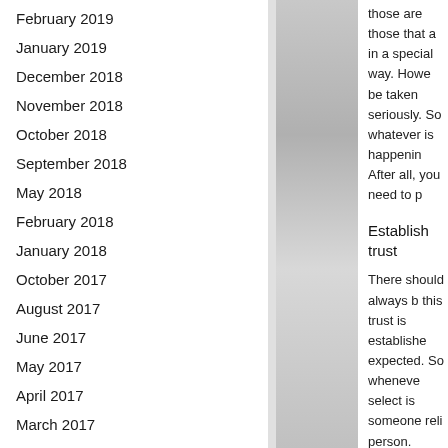February 2019
January 2019
December 2018
November 2018
October 2018
September 2018
May 2018
February 2018
January 2018
October 2017
August 2017
June 2017
May 2017
April 2017
March 2017
January 2017
December 2016
those are those that a in a special way. Howe be taken seriously. So whatever is happenin After all, you need to p
Establish trust
There should always b this trust is establishe expected. So wheneve select is someone reli person. Follow the ab
Three Useful